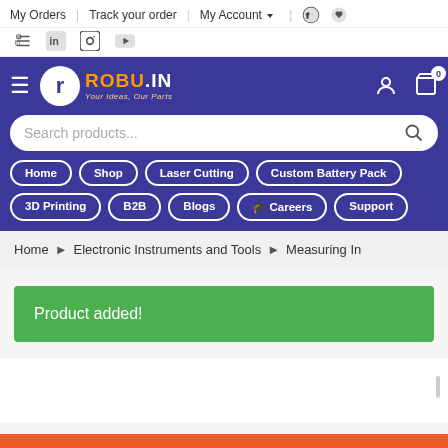My Orders | Track your order | My Account
[Figure (screenshot): Robu.in e-commerce website screenshot showing navigation header with logo, search bar, nav links, breadcrumb, and product added notification]
Home > Electronic Instruments and Tools > Measuring In
Product added!